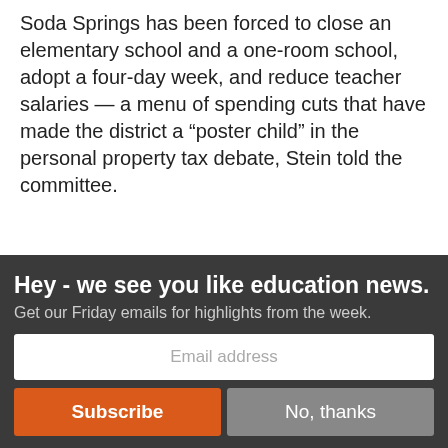Soda Springs has been forced to close an elementary school and a one-room school, adopt a four-day week, and reduce teacher salaries — a menu of spending cuts that have made the district a “poster child” in the personal property tax debate, Stein told the committee.
But over the course of 110 years, Idaho has gradually
[Figure (photo): Partial photo of a person's head with dark hair against a dark background, cropped at the bottom of the visible article area.]
Hey - we see you like education news.
Get our Friday emails for highlights from the week.
Email address
Subscribe
No, thanks